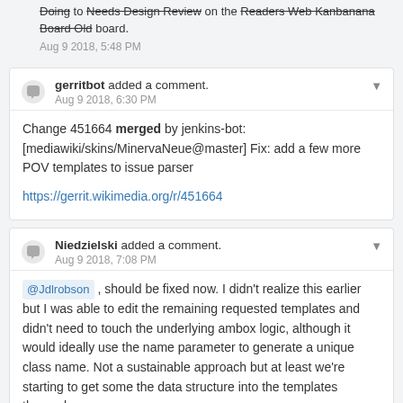Jdlrobson moved this task from Doing to Needs Design Review on the Readers Web Kanbanana Board Old board. Aug 9 2018, 5:48 PM
gerritbot added a comment. Aug 9 2018, 6:30 PM
Change 451664 merged by jenkins-bot: [mediawiki/skins/MinervaNeue@master] Fix: add a few more POV templates to issue parser
https://gerrit.wikimedia.org/r/451664
Niedzielski added a comment. Aug 9 2018, 7:08 PM
@Jdlrobson , should be fixed now. I didn't realize this earlier but I was able to edit the remaining requested templates and didn't need to touch the underlying ambox logic, although it would ideally use the name parameter to generate a unique class name. Not a sustainable approach but at least we're starting to get some the data structure into the templates themselves.